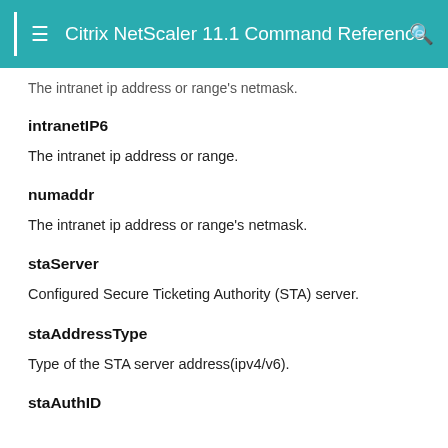Citrix NetScaler 11.1 Command Reference
The intranet ip address or range's netmask.
intranetIP6
The intranet ip address or range.
numaddr
The intranet ip address or range's netmask.
staServer
Configured Secure Ticketing Authority (STA) server.
staAddressType
Type of the STA server address(ipv4/v6).
staAuthID